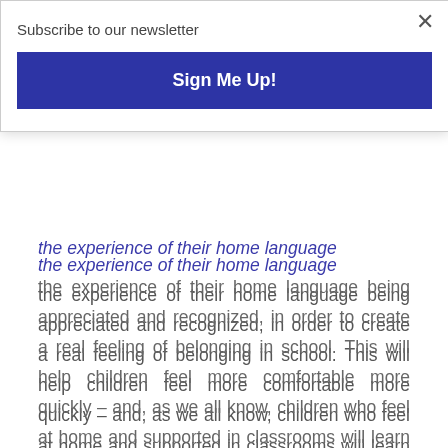Subscribe to our newsletter
Sign Me Up!
the experience of their home language being appreciated and recognized, in order to create a real feeling of belonging in school. This will help children feel more comfortable more quickly – and, as we all know, children who feel at home and supported in classrooms will learn more easily – and help their parents begin to feel more confident navigating what might be an unfamiliar school system, to advocate for